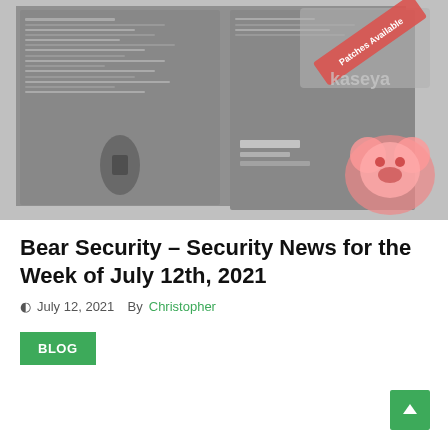[Figure (photo): Hero image showing computer screens with code/terminal output and a Kaseya branding image with 'Patches Available' stamp overlay on the right side. Dark cybersecurity aesthetic.]
Bear Security – Security News for the Week of July 12th, 2021
July 12, 2021  By Christopher
BLOG